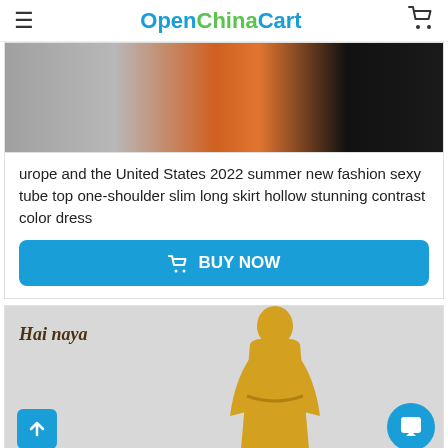OpenChinaCart
[Figure (photo): Partial view of an orange/black contrast dress on a model, shown from waist down on a grey background]
urope and the United States 2022 summer new fashion sexy tube top one-shoulder slim long skirt hollow stunning contrast color dress
BUY NOW
[Figure (photo): Model wearing a yellow long-sleeve wrap dress on a grey background, with Hai naya brand label in top left corner]